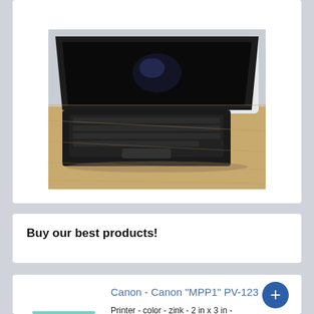[Figure (photo): A black Lenovo ThinkPad laptop open on a wooden table with a white chair visible in the background]
Buy our best products!
Canon - Canon "MPP1" PV-123
Printer - color - zink - 2 in x 3 in - capacity: 10 sheets - Bluetooth 4.0 - mint green with Canon